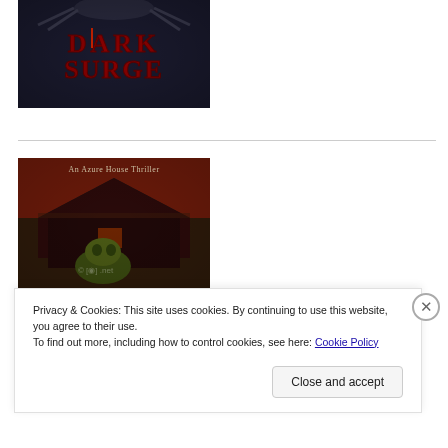[Figure (illustration): Book cover for 'Dark Surge' — dark horror themed cover with large bold red stylized text 'DARK SURGE' on a dark background with what appears to be a spider or creature]
[Figure (illustration): Book cover titled 'An Azure House Thriller' — dark horror themed cover showing a decrepit barn or house in red tones with a monstrous creature in the foreground]
Privacy & Cookies: This site uses cookies. By continuing to use this website, you agree to their use.
To find out more, including how to control cookies, see here: Cookie Policy
Close and accept